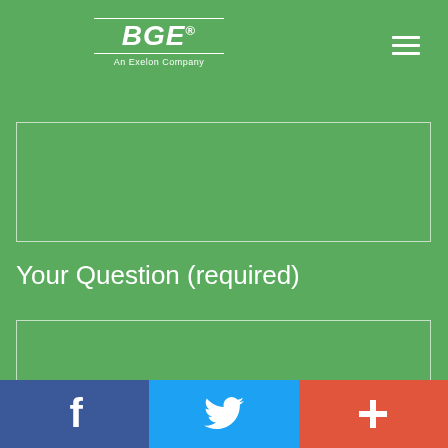BGE — An Exelon Company
Your Question (required)
Facebook | Twitter | Plus social sharing buttons